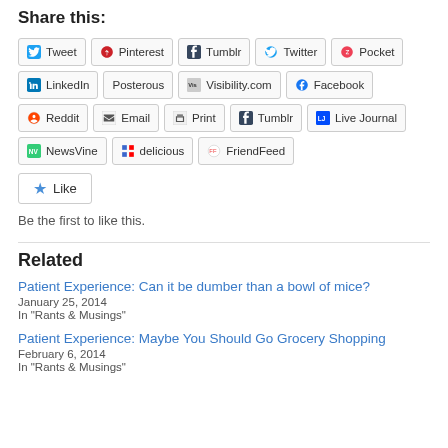Share this:
Tweet | Pinterest | Tumblr | Twitter | Pocket | LinkedIn | Posterous | Visibility.com | Facebook | Reddit | Email | Print | Tumblr | Live Journal | NewsVine | delicious | FriendFeed
Like
Be the first to like this.
Related
Patient Experience: Can it be dumber than a bowl of mice?
January 25, 2014
In "Rants & Musings"
Patient Experience: Maybe You Should Go Grocery Shopping
February 6, 2014
In "Rants & Musings"